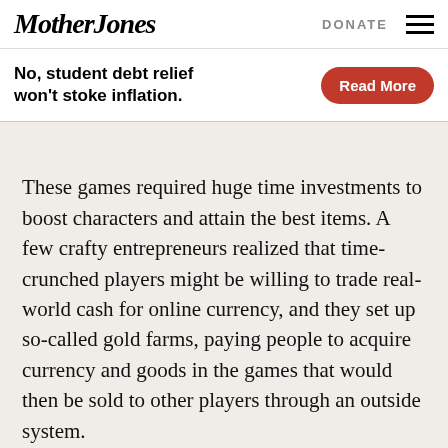Mother Jones | DONATE
No, student debt relief won't stoke inflation. Read More
These games required huge time investments to boost characters and attain the best items. A few crafty entrepreneurs realized that time-crunched players might be willing to trade real-world cash for online currency, and they set up so-called gold farms, paying people to acquire currency and goods in the games that would then be sold to other players through an outside system.
One of the fastest-growing businesses in the "gold